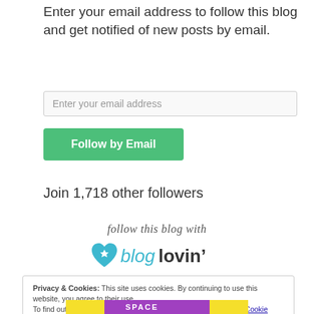Enter your email address to follow this blog and get notified of new posts by email.
[Figure (other): Email input field with placeholder text 'Enter your email address']
[Figure (other): Green 'Follow by Email' button]
Join 1,718 other followers
[Figure (logo): Bloglovin logo with text 'follow this blog with bloglovin' and heart icon]
Privacy & Cookies: This site uses cookies. By continuing to use this website, you agree to their use. To find out more, including how to control cookies, see here: Our Cookie Policy
Close and accept